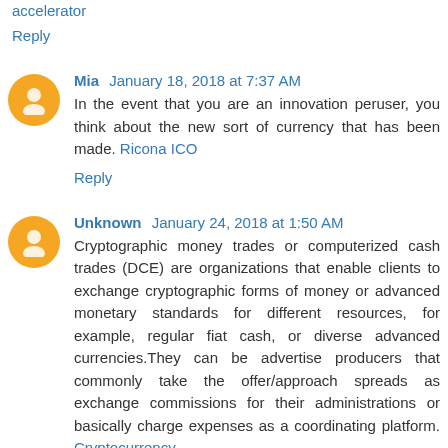accelerator
Reply
Mia January 18, 2018 at 7:37 AM
In the event that you are an innovation peruser, you think about the new sort of currency that has been made. Ricona ICO
Reply
Unknown January 24, 2018 at 1:50 AM
Cryptographic money trades or computerized cash trades (DCE) are organizations that enable clients to exchange cryptographic forms of money or advanced monetary standards for different resources, for example, regular fiat cash, or diverse advanced currencies.They can be advertise producers that commonly take the offer/approach spreads as exchange commissions for their administrations or basically charge expenses as a coordinating platform. Cryptocurrency